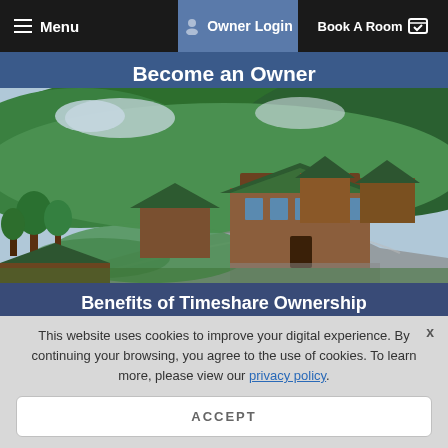Menu | Owner Login | Book A Room
Become an Owner
[Figure (photo): Aerial view of a mountain resort with log-cabin style buildings, green roofs, winding roads, and forested hillside in the background]
Benefits of Timeshare Ownership
This website uses cookies to improve your digital experience. By continuing your browsing, you agree to the use of cookies. To learn more, please view our privacy policy.
ACCEPT